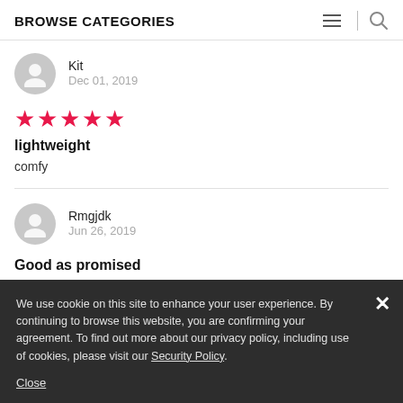BROWSE CATEGORIES
Kit
Dec 01, 2019
[Figure (other): 5 red star rating icons]
lightweight
comfy
Rmgjdk
Jun 26, 2019
Good as promised
We use cookie on this site to enhance your user experience. By continuing to browse this website, you are confirming your agreement. To find out more about our privacy policy, including use of cookies, please visit our Security Policy.

Close